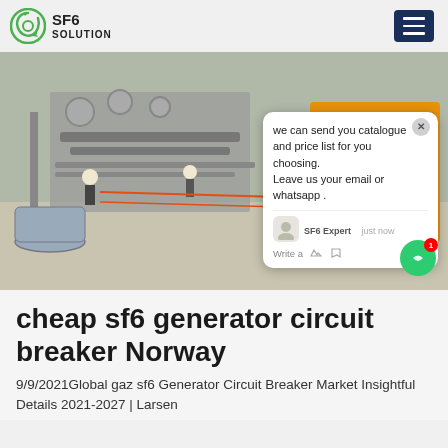SF6 SOLUTION
[Figure (photo): Industrial electrical substation with SF6 circuit breaker equipment, workers in hard hats visible, orange truck in background with text 豫AIW 0725. A chat popup overlay shows: 'we can send you catalogue and price list for you choosing. Leave us your email or whatsapp .' with SF6 Expert label and 'just now' timestamp.]
cheap sf6 generator circuit breaker Norway
9/9/2021Global gaz sf6 Generator Circuit Breaker Market Insightful Details 2021-2027 | Larsen